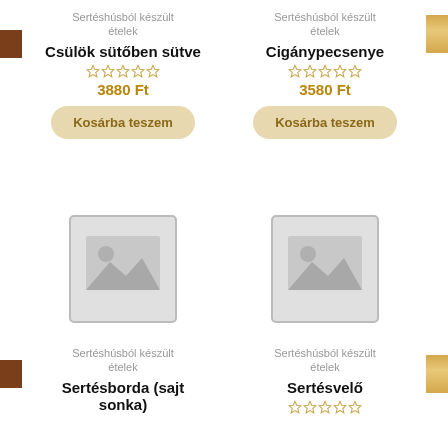Sertéshúsból készült ételek
Csülök sütőben sütve
3880 Ft
Kosárba teszem
Sertéshúsból készült ételek
Cigánypecsenye
3580 Ft
Kosárba teszem
[Figure (photo): Placeholder image for product (no photo available)]
Sertéshúsból készült ételek
Sertésborda (sajt sonka)
[Figure (photo): Placeholder image for product (no photo available)]
Sertéshúsból készült ételek
Sertésvelő